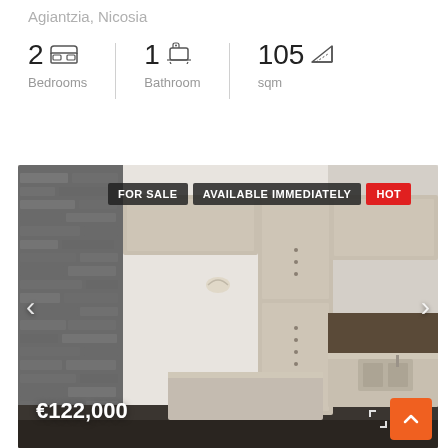Agiantzia, Nicosia
2 Bedrooms | 1 Bathroom | 105 sqm
[Figure (photo): Interior photo of a kitchen/living area with wooden cabinets, stone wall cladding, kitchen island, and sink. Overlaid with badges: FOR SALE, AVAILABLE IMMEDIATELY, HOT. Price shown: €122,000. Navigation arrows on sides.]